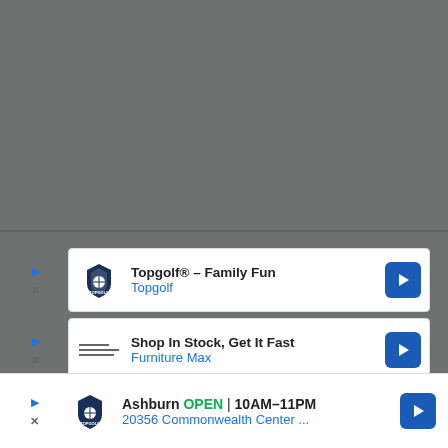[Figure (screenshot): Google Maps-style screenshot showing a gray map background with two ad cards and a bottom panel ad for Topgolf and Furniture Max]
Topgolf® – Family Fun
Topgolf
Shop In Stock, Get It Fast
Furniture Max
Ashburn  OPEN  10AM–11PM
20356 Commonwealth Center ...